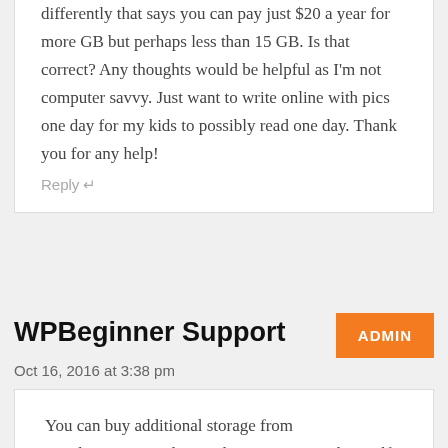differently that says you can pay just $20 a year for more GB but perhaps less than 15 GB. Is that correct? Any thoughts would be helpful as I'm not computer savvy. Just want to write online with pics one day for my kids to possibly read one day. Thank you for any help!
Reply ↵
WPBeginner Support
Oct 16, 2016 at 3:38 pm
You can buy additional storage from WordPress.com. Alternately, you can switch to self-hosted WordPress.org blog